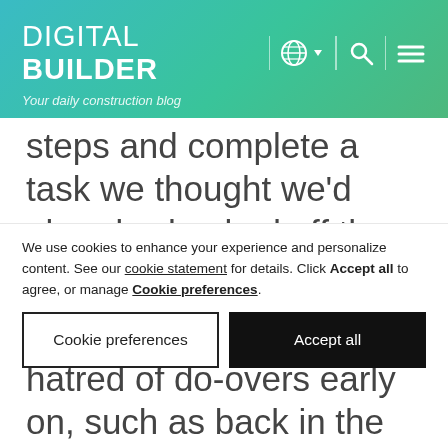DIGITAL BUILDER — Your daily construction blog
steps and complete a task we thought we'd already checked off the list.
Most of us discover this hatred of do-overs early on, such as back in the day when Mom and Dad asked us to wash the dishes again (and get all of those
We use cookies to enhance your experience and personalize content. See our cookie statement for details. Click Accept all to agree, or manage Cookie preferences.
Cookie preferences
Accept all